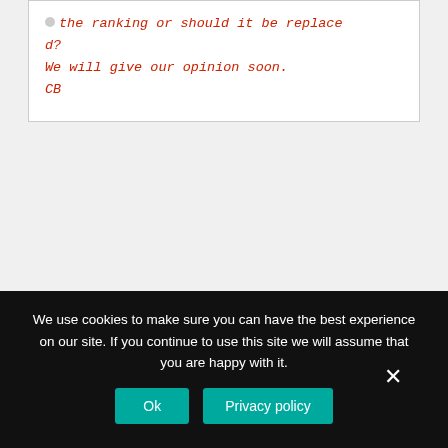the ranking or should it be replaced?
We will give our opinion soon.
CB
We use cookies to make sure you can have the best experience on our site. If you continue to use this site we will assume that you are happy with it.